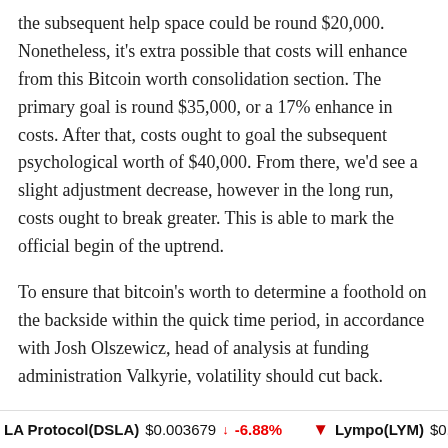the subsequent help space could be round $20,000. Nonetheless, it's extra possible that costs will enhance from this Bitcoin worth consolidation section. The primary goal is round $35,000, or a 17% enhance in costs. After that, costs ought to goal the subsequent psychological worth of $40,000. From there, we'd see a slight adjustment decrease, however in the long run, costs ought to break greater. This is able to mark the official begin of the uptrend.
To ensure that bitcoin's worth to determine a foothold on the backside within the quick time period, in accordance with Josh Olszewicz, head of analysis at funding administration Valkyrie, volatility should cut back.
“We are able to have a look at issues just like the 200-week shifting common, which is round $22,000. We are
LA Protocol(DSLA) $0.003679 ↓ -6.88% Lympo(LYM) $0.004392